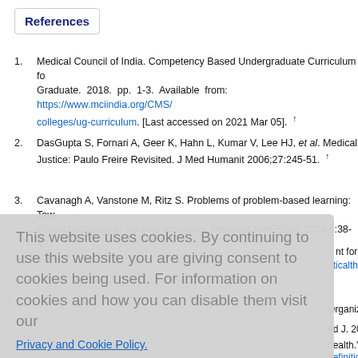References
Medical Council of India. Competency Based Undergraduate Curriculum for the Indian Medical Graduate. 2018. pp. 1-3. Available from: https://www.mciindia.org/CMS/... colleges/ug-curriculum. [Last accessed on 2021 Mar 05]. ↑
DasGupta S, Fornari A, Geer K, Hahn L, Kumar V, Lee HJ, et al. Medical Education for Social Justice: Paulo Freire Revisited. J Med Humanit 2006;27:245-51. ↑
Cavanagh A, Vanstone M, Ritz S. Problems of problem-based learning: Towards transformative critical pedagogy in medical education. Perspect Med Educ. 2019;8:38-42. ...
This website uses cookies. By continuing to use this website you are giving consent to cookies being used. For information on cookies and how you can disable them visit our Privacy and Cookie Policy. AGREE & PROCEED